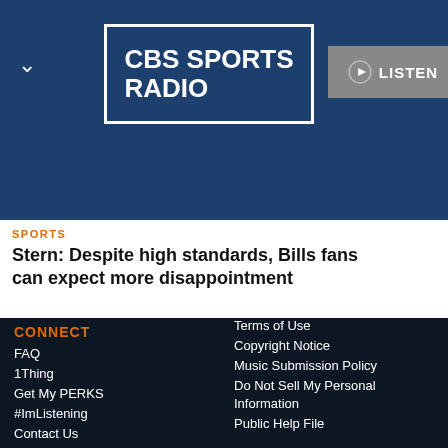[Figure (screenshot): CBS Sports Radio logo in white text on dark blue background with white border box]
[Figure (screenshot): Listen button with play icon and dropdown chevron on grey background]
SPORTS
Stern: Despite high standards, Bills fans can expect more disappointment
CONNECT
FAQ
1Thing
Get My PERKS
#ImListening
Contact Us
Terms of Use
Copyright Notice
Music Submission Policy
Do Not Sell My Personal Information
Public Help File
View Guide
[Figure (screenshot): Bottom media player bar with skip back 15s, play button, skip forward 15s controls and The DA Show text]